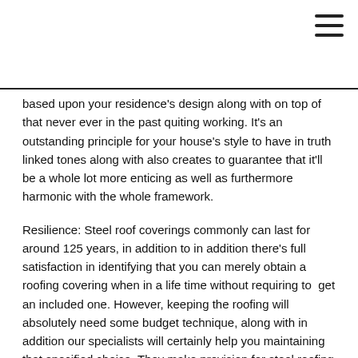[Figure (other): Hamburger menu icon (three horizontal lines) in the top-right corner]
based upon your residence's design along with on top of that never ever in the past quiting working. It's an outstanding principle for your house's style to have in truth linked tones along with also creates to guarantee that it'll be a whole lot more enticing as well as furthermore harmonic with the whole framework.
Resilience: Steel roof coverings commonly can last for around 125 years, in addition to in addition there's full satisfaction in identifying that you can merely obtain a roofing covering when in a life time without requiring to get an included one. However, keeping the roofing will absolutely need some budget technique, along with in addition our specialists will certainly help you maintaining that specified choice. They make provision for steel roofing system covering devices together with likewise items that are durable along with count on.